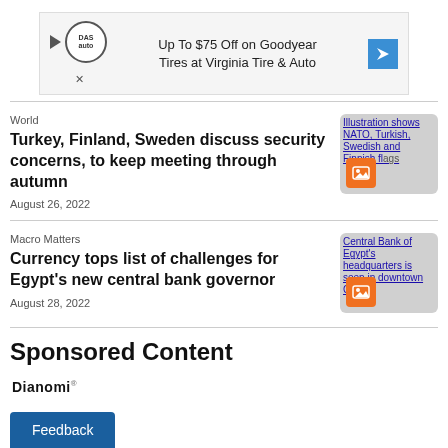[Figure (screenshot): Advertisement banner for Goodyear tires at Virginia Tire & Auto, up to $75 off]
World
Turkey, Finland, Sweden discuss security concerns, to keep meeting through autumn
August 26, 2022
[Figure (photo): Illustration shows NATO, Turkish, Swedish and Finnish flags]
Macro Matters
Currency tops list of challenges for Egypt's new central bank governor
August 28, 2022
[Figure (photo): Central Bank of Egypt's headquarters is seen in downtown Cairo]
Sponsored Content
[Figure (logo): Dianomi logo]
Feedback